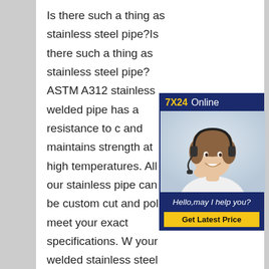Is there such a thing as stainless steel pipe?Is there such a thing as stainless steel pipe?ASTM A312 stainless welded pipe has a resistance to c and maintains strength at high temperatures. All of our stainless pipe can be custom cut and polis meet your exact specifications. W your welded stainless steel pipe supplier.Stainless Steel Welded Pipe - Stainless and Alloy Stainless Steel 304 ERW Pipe, Stainless Steel Welded Pipes 304 Welded Stainless Steel Pipe Stainless
[Figure (infographic): Customer service advertisement box with dark navy blue background. Top bar shows '7X24 Online' in yellow and white text. Middle shows a photo of a woman wearing a headset/microphone smiling. Bottom navy section shows italic text 'Hello,may I help you?' and a yellow button 'Get Latest Price'.]